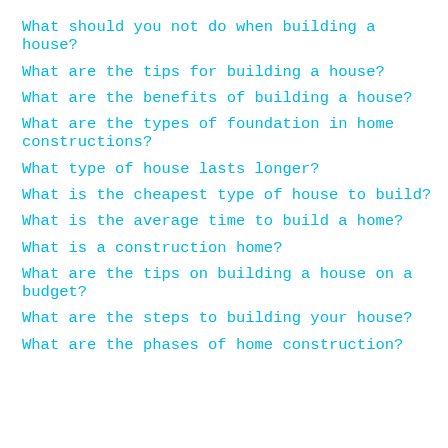What should you not do when building a house?
What are the tips for building a house?
What are the benefits of building a house?
What are the types of foundation in home constructions?
What type of house lasts longer?
What is the cheapest type of house to build?
What is the average time to build a home?
What is a construction home?
What are the tips on building a house on a budget?
What are the steps to building your house?
What are the phases of home construction?